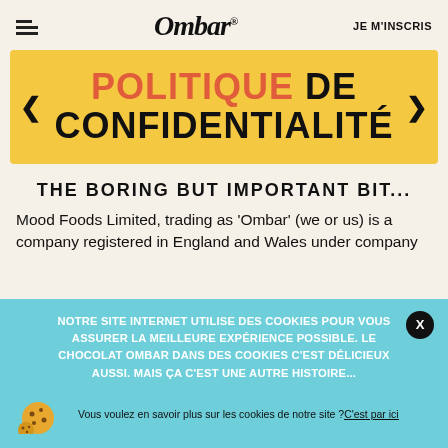Ombar® | JE M'INSCRIS
POLITIQUE DE CONFIDENTIALITÉ
THE BORING BUT IMPORTANT BIT...
Mood Foods Limited, trading as 'Ombar' (we or us) is a company registered in England and Wales under company
NOTRE SITE INTERNET UTILISE DES COOKIES POUR VOUS ASSURER LA MEILLEURE EXPÉRIENCE POSSIBLE. LE CHOCOLAT OMBAR DANS DES COOKIES C'EST DÉLICIEUX AUSSI. MAIS ÇA C'EST UNE AUTRE HISTOIRE... Vous voulez en savoir plus sur les cookies de notre site ? C'est par ici